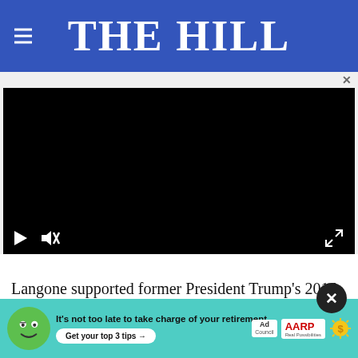THE HILL
[Figure (screenshot): Embedded video player with black background, play button, mute button, and fullscreen button controls at the bottom left and right.]
Langone supported former President Trump's 2016 campaign, but has since criticized Trump for insisting the "U... included "very fine people" in 2017, and...
[Figure (infographic): AARP advertisement banner with green cartoon mascot, text 'It's not too late to take charge of your retirement. Get your top 3 tips', Ad Council logo, AARP logo, and sun/dollar icon. Background is teal/green.]